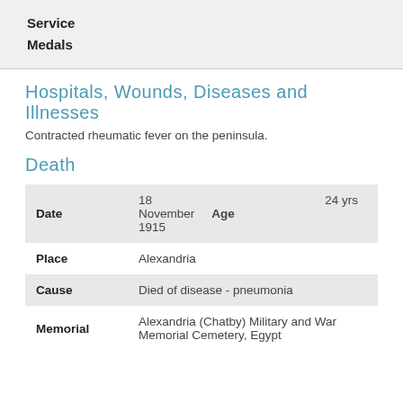Service
Medals
Hospitals, Wounds, Diseases and Illnesses
Contracted rheumatic fever on the peninsula.
Death
| Field | Value |
| --- | --- |
| Date | 18 November 1915 | Age | 24 yrs |
| Place | Alexandria |
| Cause | Died of disease - pneumonia |
| Memorial | Alexandria (Chatby) Military and War Memorial Cemetery, Egypt |